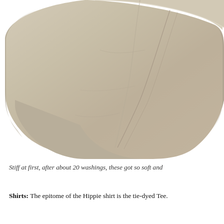[Figure (photo): Close-up photograph of a beige/khaki fabric sleeve or pant leg, showing stitching detail, against a white background.]
Stiff at first, after about 20 washings, these got so soft and
Shirts: The epitome of the Hippie shirt is the tie-dyed Tee.